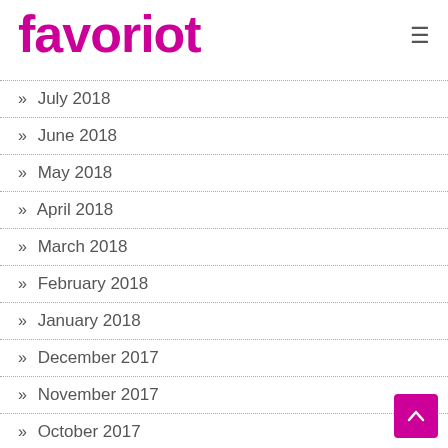favoriot
» July 2018
» June 2018
» May 2018
» April 2018
» March 2018
» February 2018
» January 2018
» December 2017
» November 2017
» October 2017
» September 2017
» August 2017